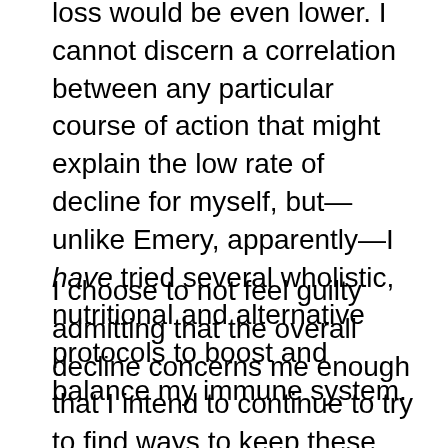loss would be even lower. I cannot discern a correlation between any particular course of action that might explain the low rate of decline for myself, but—unlike Emery, apparently—I have tried several wholistic, nutritional and alternative protocols to boost and balance my immune system.
I choose to not feel guilty admitting that the overall decline concerns me enough that I intend to continue to try to find ways to keep these numbers as high as possible as long as I can, without resorting to ARVs.
The other circumstance that I would take CD4 counts seriously would be